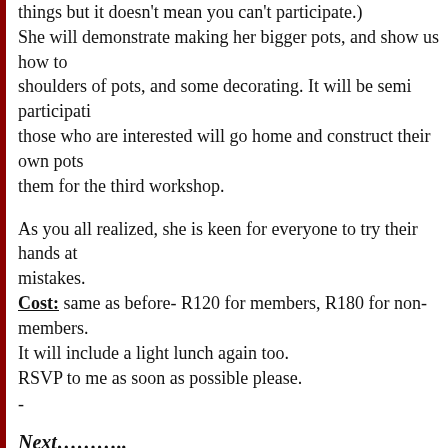things but it doesn't mean you can't participate.) She will demonstrate making her bigger pots, and show us how to shoulders of pots, and some decorating. It will be semi participati those who are interested will go home and construct their own pots them for the third workshop.
As you all realized, she is keen for everyone to try their hands at mistakes.
Cost: same as before- R120 for members, R180 for non-members. It will include a light lunch again too. RSVP to me as soon as possible please.
-
Next………..
Workshops we never thought would happen
We have Lorette Espi and Catarina Pagani coming up from Cape To what can I say- fantastic!
That will be the last weekend of May
Saturday 29th May and Sunday 30th.
Lorette will give us a workshop on right brain/left brain decorating, few of us have seen her in action and she is really an excellent teach